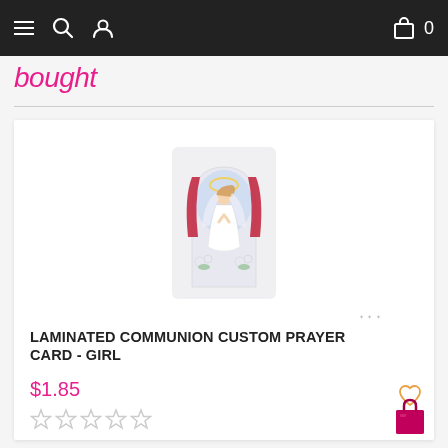Navigation bar with hamburger menu, search, user icon, cart bag icon, and cart count 0
bought
[Figure (illustration): Religious illustration of a girl in white communion dress kneeling in prayer beneath an archway with red curtains and flowers, on a prayer card]
LAMINATED COMMUNION CUSTOM PRAYER CARD - GIRL
$1.85
[Figure (other): Five empty star rating icons (no fill)]